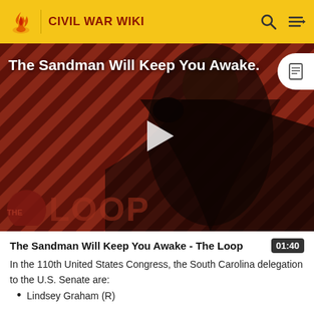CIVIL WAR WIKI
[Figure (screenshot): Video thumbnail showing a dark-cloaked figure against a red diagonal striped background with 'The Loop' overlay logo and a play button. Title overlay reads 'The Sandman Will Keep You Awake.']
The Sandman Will Keep You Awake - The Loop  01:40
In the 110th United States Congress, the South Carolina delegation to the U.S. Senate are:
Lindsey Graham (R)